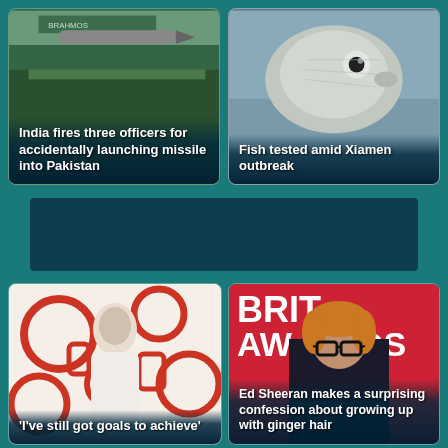[Figure (screenshot): News card: India fires three officers for accidentally launching missile into Pakistan. Background shows military vehicle with BrahMos missile branding.]
[Figure (screenshot): News card: Fish tested amid Xiamen outbreak. Background shows close-up photo of a fish.]
[Figure (screenshot): Advertisement banner (dark background, no content visible).]
[Figure (screenshot): News card: 'I've still got goals to achieve'. Background shows a person in white outfit against red/white graphic background.]
[Figure (screenshot): News card: Ed Sheeran makes a surprising confession about growing up with ginger hair. Background shows Ed Sheeran at Brit Awards.]